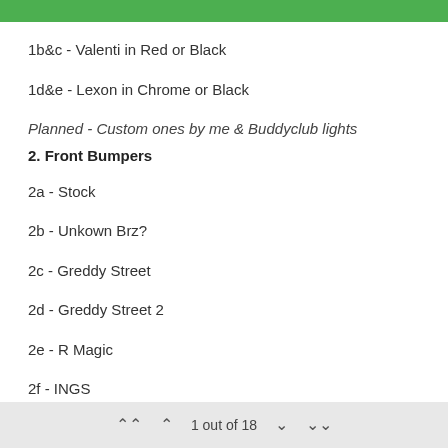1b&c - Valenti in Red or Black
1d&e - Lexon in Chrome or Black
Planned - Custom ones by me & Buddyclub lights
2. Front Bumpers
2a - Stock
2b - Unkown Brz?
2c - Greddy Street
2d - Greddy Street 2
2e - R Magic
2f - INGS
1 out of 18